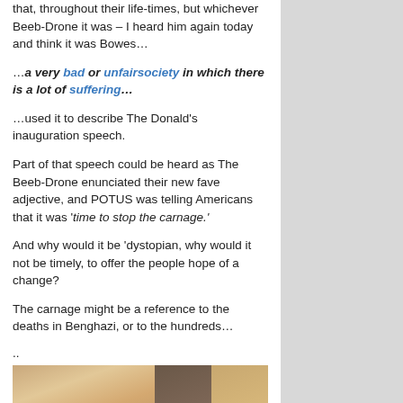that, throughout their life-times, but whichever Beeb-Drone it was – I heard him again today and think it was Bowes…
…a very bad or unfairsociety in which there is a lot of suffering…
…used it to describe The Donald's inauguration speech.
Part of that speech could be heard as The Beeb-Drone enunciated their new fave adjective, and POTUS was telling Americans that it was 'time to stop the carnage.'
And why would it be 'dystopian, why would it not be timely, to offer the people hope of a change?
The carnage might be a reference to the deaths in Benghazi, or to the hundreds…
..
[Figure (photo): A photo collage showing three faces: a woman with blonde hair on the left (large), a man in the center, and a woman on the right.]